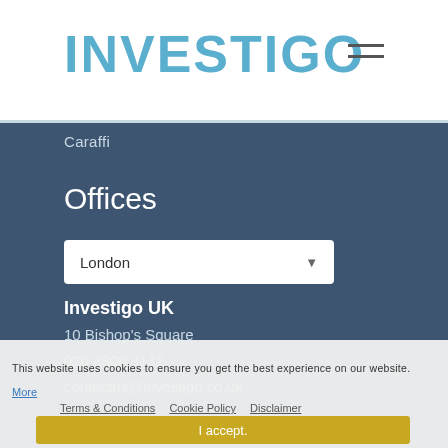INVESTIGO
Caraffi
Offices
London
Investigo UK
10 Bishop's Square
020 3808 3111
contactus@investigo.co.uk
This website uses cookies to ensure you get the best experience on our website. More
Terms & Conditions   Cookie Policy   Disclaimer
I accept.